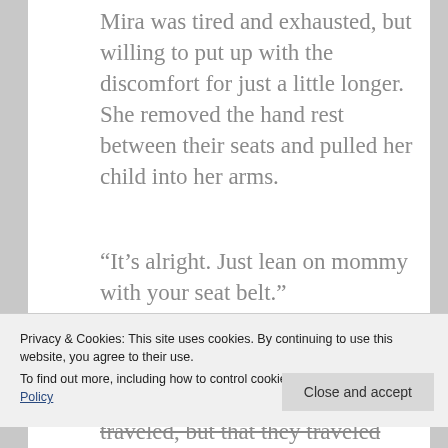Mira was tired and exhausted, but willing to put up with the discomfort for just a little longer. She removed the hand rest between their seats and pulled her child into her arms.
“It’s alright. Just lean on mommy with your seat belt.”
Privacy & Cookies: This site uses cookies. By continuing to use this website, you agree to their use.
To find out more, including how to control cookies, see here: Cookie Policy
traveled, but that they traveled without him. Her